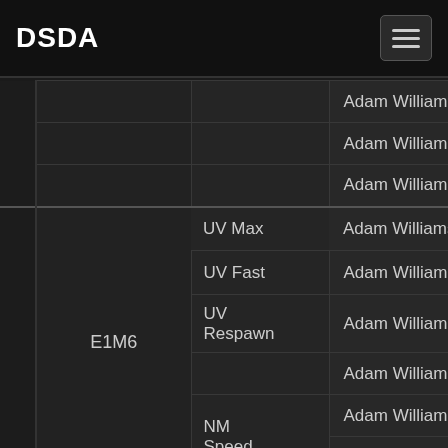DSDA
| Level | Category | Player | Port |
| --- | --- | --- | --- |
|  |  | Adam Williamson | DooM |
|  |  | Adam Williamson | DooM |
|  |  | Adam Williamson | DooM |
| E1M6 | UV Max | Adam Williamson | DooM |
| E1M6 | UV Fast | Adam Williamson | DooM |
| E1M6 | UV Respawn | Adam Williamson | DooM |
| E1M6 |  | Adam Williamson | DooM |
| E1M6 | NM Speed | Adam Williamson | DooM |
| E1M6 | NM Speed | Adam Williamson | DooM |
|  |  | Adam Williamson | DooM |
|  |  | Adam Williamson | DooM |